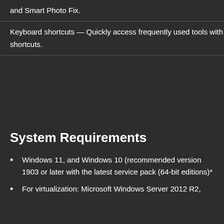| and Smart Photo Fix. |
| Keyboard shortcuts — Quickly access frequently used tools with shortcuts. |
System Requirements
Windows 11, and Windows 10 (recommended version 1903 or later with the latest service pack (64-bit editions)*
For virtualization: Microsoft Windows Server 2012 R2,